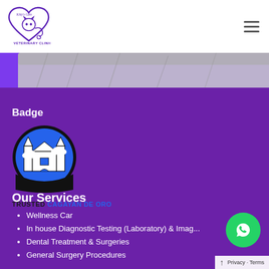[Figure (logo): Kitty's Care Veterinary Clinic logo — purple cat inside a heart shape with stethoscope, text 'Kitty's Care' above and 'VETERINARY CLINIC' below]
[Figure (photo): Close-up photo of a grey tabby cat lying down against a purple background]
Badge
[Figure (illustration): Circular badge with blue background showing a black outline of a cathedral/church building with clouds. 'TRUSTED' text below with colored partner text.]
Our Services
Wellness Car
In house Diagnostic Testing (Laboratory) & Imag...
Dental Treatment & Surgeries
General Surgery Procedures
[Figure (illustration): Green circular WhatsApp button with white phone/chat icon]
Privacy · Terms